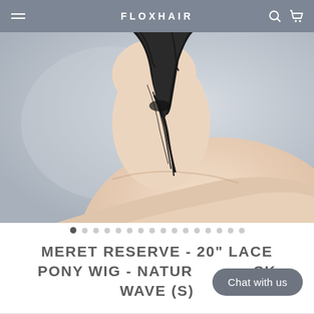FLOXHAIR
[Figure (photo): Product photo of a mannequin head/neck/shoulder showing dark hair pulled back into a ponytail, photographed from behind at an angle against a grey background]
• • • • • • • • • • • • • • • • (carousel dots)
MERET RESERVE - 20" LACE PONY WIG - NATURAL BLACK WAVE (S)
Chat with us